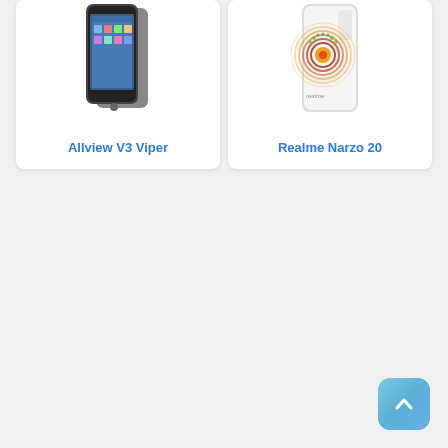[Figure (photo): Allview V3 Viper smartphone product card with phone image and blue title text]
[Figure (photo): Realme Narzo 20 smartphone product card with phone image and blue title text]
[Figure (other): Back to top button in bottom right corner, rounded square with upward chevron arrow]